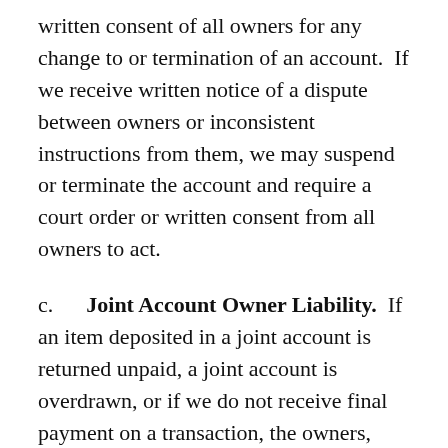written consent of all owners for any change to or termination of an account.  If we receive written notice of a dispute between owners or inconsistent instructions from them, we may suspend or terminate the account and require a court order or written consent from all owners to act.
c.  Joint Account Owner Liability.  If an item deposited in a joint account is returned unpaid, a joint account is overdrawn, or if we do not receive final payment on a transaction, the owners, jointly and severally, are liable to us for the amount of the returned item, overdraft, or unpaid amount, and any charges, regardless of who initiated or benefited from the